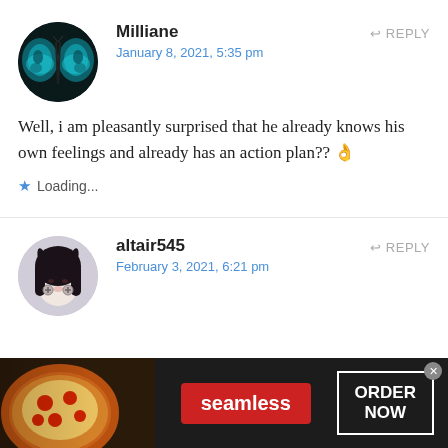[Figure (photo): Circular avatar of user Milliane showing a teal/blue butterfly on black background]
Milliane
January 8, 2021, 5:35 pm
REPLY
Well, i am pleasantly surprised that he already knows his own feelings and already has an action plan?? 👌
Loading...
[Figure (photo): Circular avatar of user altair545 showing an anime character with dark hair and horns]
altair545
February 3, 2021, 6:21 pm
REPLY
[Figure (photo): Seamless food delivery advertisement banner showing pizza on the left, seamless red logo in the center, and ORDER NOW button on the right]